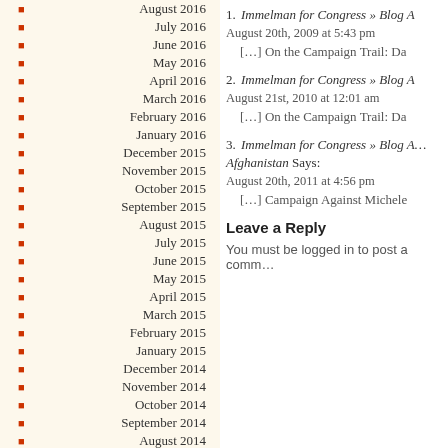August 2016
July 2016
June 2016
May 2016
April 2016
March 2016
February 2016
January 2016
December 2015
November 2015
October 2015
September 2015
August 2015
July 2015
June 2015
May 2015
April 2015
March 2015
February 2015
January 2015
December 2014
November 2014
October 2014
September 2014
August 2014
July 2014
June 2014
May 2014
1. Immelman for Congress » Blog A… August 20th, 2009 at 5:43 pm
[…] On the Campaign Trail: Da
2. Immelman for Congress » Blog A… August 21st, 2010 at 12:01 am
[…] On the Campaign Trail: Da
3. Immelman for Congress » Blog A… Afghanistan Says:
August 20th, 2011 at 4:56 pm
[…] Campaign Against Michele
Leave a Reply
You must be logged in to post a comm…